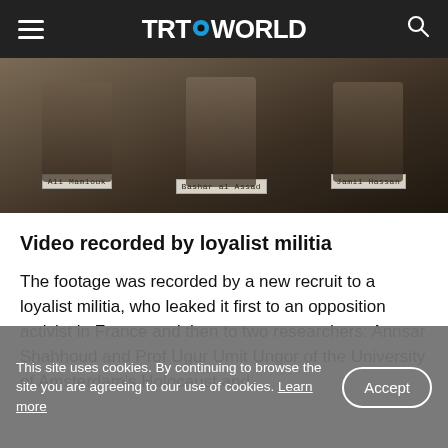TRT WORLD
[Figure (photo): Sepia-toned photo with label tags identifying Ali Mamlouk, Bashar al Assad, and Jamil Hassan]
Video recorded by loyalist militia
The footage was recorded by a new recruit to a loyalist militia, who leaked it first to an opposition activist in France and then to two researchers: Annsar Shahhoud and Prof Ugur Umit Ungor of the University of Amsterdam's Holocaust and [Genocide Studies]
This site uses cookies. By continuing to browse the site you are agreeing to our use of cookies. Learn more